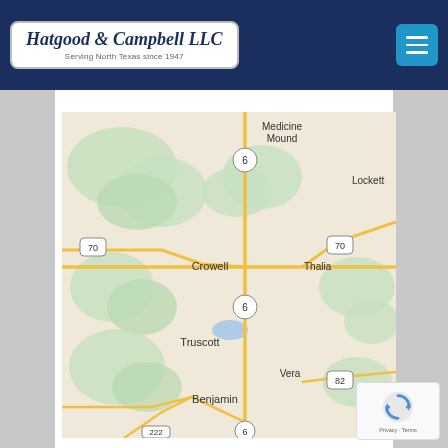Hatgood & Campbell LLC — Serving North Texas since 1947
[Figure (map): Google Maps view of North Texas showing towns: Medicine Mound, Lockett, Crowell, Thalia, Truscott, Vera, Benjamin. Roads include US 70, TX 6, TX 82, TX 222. Map shows beige terrain with green vegetation patches and a small blue lake near Truscott.]
[Figure (other): Google reCAPTCHA widget showing the reCAPTCHA logo and Privacy - Terms text]